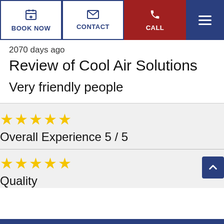BOOK NOW | CONTACT | CALL
2070 days ago
Review of Cool Air Solutions
Very friendly people
★★★★★ Overall Experience 5 / 5
★★★★★ Quality